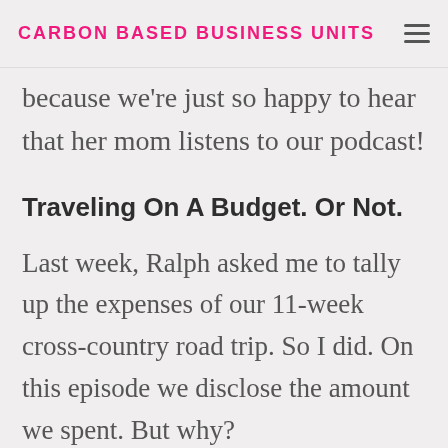CARBON BASED BUSINESS UNITS
because we're just so happy to hear that her mom listens to our podcast!
Traveling On A Budget. Or Not.
Last week, Ralph asked me to tally up the expenses of our 11-week cross-country road trip. So I did. On this episode we disclose the amount we spent. But why?